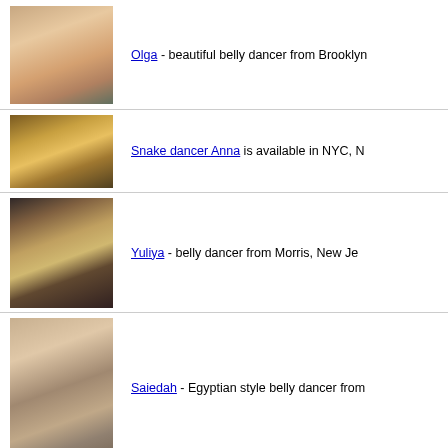[Figure (photo): Belly dancer Olga in pink costume with gold top performing on stage with green curtain background]
Olga - beautiful belly dancer from Brooklyn
[Figure (photo): Snake dancer Anna performing in dark venue with golden lighting]
Snake dancer Anna is available in NYC, N
[Figure (photo): Yuliya belly dancer performing at a party venue with audience in background]
Yuliya - belly dancer from Morris, New Je
[Figure (photo): Saiedah Egyptian style belly dancer in teal costume with warm lighting]
Saiedah - Egyptian style belly dancer from